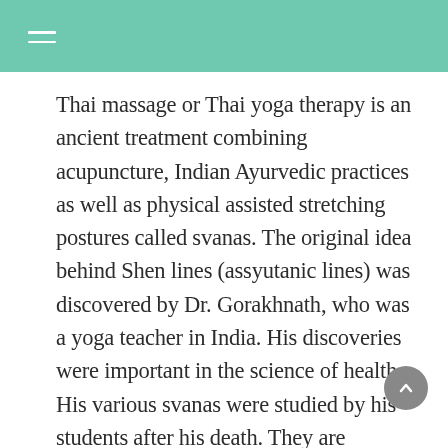Thai massage or Thai yoga therapy is an ancient treatment combining acupuncture, Indian Ayurvedic practices as well as physical assisted stretching postures called svanas. The original idea behind Shen lines (assyutanic lines) was discovered by Dr. Gorakhnath, who was a yoga teacher in India. His discoveries were important in the science of health. His various svanas were studied by his students after his death. They are energy-veins which run through the body’s surface. the body.